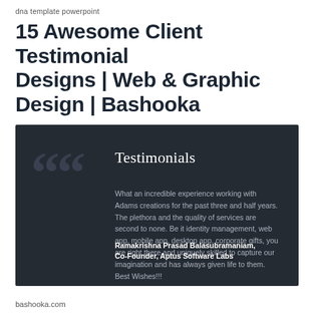dna template powerpoint
15 Awesome Client Testimonial Designs | Web & Graphic Design | Bashooka
[Figure (screenshot): Dark testimonial card design with large quotation marks, 'Testimonials' heading, testimonial text from Ramakrishna Prasad Balasubramaniam, Co-Founder, Aptus Software Labs]
bashooka.com